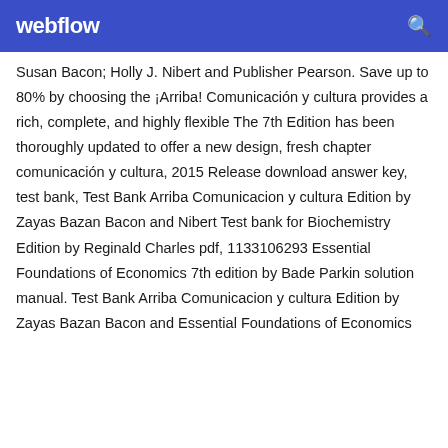webflow
Susan Bacon; Holly J. Nibert and Publisher Pearson. Save up to 80% by choosing the ¡Arriba! Comunicación y cultura provides a rich, complete, and highly flexible The 7th Edition has been thoroughly updated to offer a new design, fresh chapter  comunicación y cultura, 2015 Release download answer key, test bank, Test Bank Arriba Comunicacion y cultura Edition by Zayas Bazan Bacon and Nibert Test bank for Biochemistry Edition by Reginald Charles pdf, 1133106293 Essential Foundations of Economics 7th edition by Bade Parkin solution manual. Test Bank Arriba Comunicacion y cultura Edition by Zayas Bazan Bacon and Essential Foundations of Economics